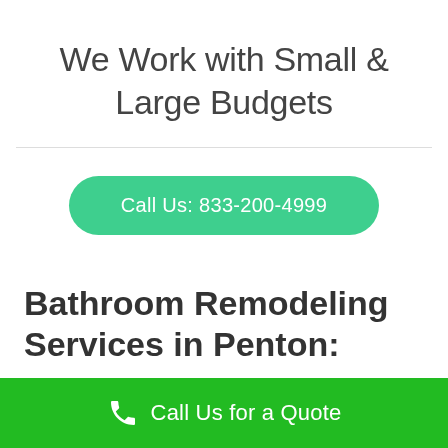We Work with Small & Large Budgets
Call Us: 833-200-4999
Bathroom Remodeling Services in Penton:
Call Us for a Quote